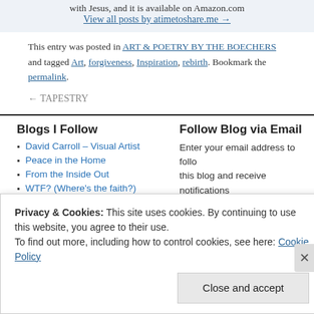with Jesus, and it is available on Amazon.com
View all posts by atimetoshare.me →
This entry was posted in ART & POETRY BY THE BOECHERS and tagged Art, forgiveness, Inspiration, rebirth. Bookmark the permalink.
← TAPESTRY
Blogs I Follow
David Carroll – Visual Artist
Peace in the Home
From the Inside Out
WTF? (Where's the faith?)
Pilgrim's Progress Revisited –
Follow Blog via Email
Enter your email address to follow this blog and receive notifications of new posts by email.
Enter your email address
Privacy & Cookies: This site uses cookies. By continuing to use this website, you agree to their use.
To find out more, including how to control cookies, see here: Cookie Policy
Close and accept